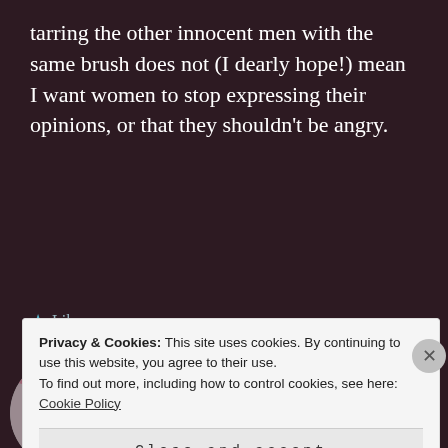tarring the other innocent men with the same brush does not (I dearly hope!) mean I want women to stop expressing their opinions, or that they shouldn't be angry.
★ Like
MS TASTIC says:
↵ Reply
December 18, 2014 at 10:07 am
Privacy & Cookies: This site uses cookies. By continuing to use this website, you agree to their use.
To find out more, including how to control cookies, see here: Cookie Policy
Close and accept